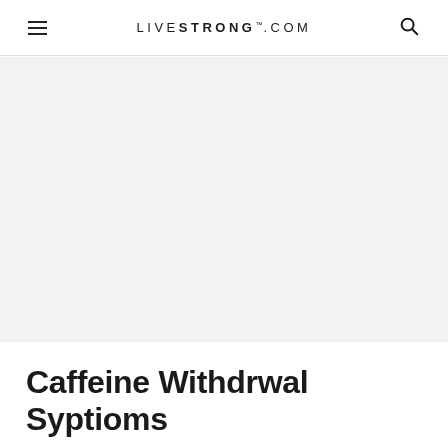LIVESTRONG.COM
[Figure (photo): Large light gray placeholder image area for an article about caffeine withdrawal symptoms]
Caffeine Withdrwal Syptioms